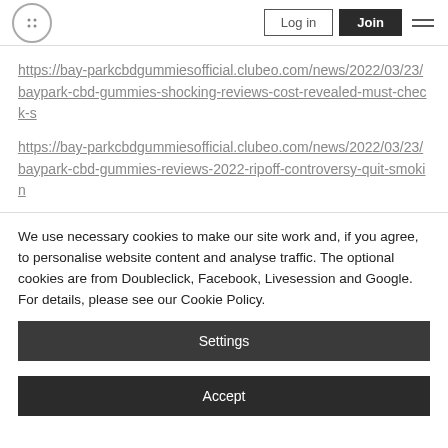Logo | Log in | Join | Menu
https://bay-parkcbdgummiesofficial.clubeo.com/news/2022/03/23/baypark-cbd-gummies-shocking-reviews-cost-revealed-must-check-s
https://bay-parkcbdgummiesofficial.clubeo.com/news/2022/03/23/baypark-cbd-gummies-reviews-2022-ripoff-controversy-quit-smokin
We use necessary cookies to make our site work and, if you agree, to personalise website content and analyse traffic. The optional cookies are from Doubleclick, Facebook, Livesession and Google. For details, please see our Cookie Policy.
Settings
Accept